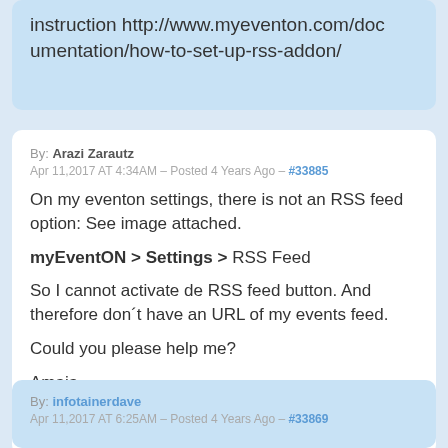instruction http://www.myeventon.com/documentation/how-to-set-up-rss-addon/
By: Arazi Zarautz
Apr 11, 2017 AT 4:34AM – Posted 4 Years Ago – #33885
On my eventon settings, there is not an RSS feed option: See image attached.
myEventON > Settings > RSS Feed
So I cannot activate de RSS feed button. And therefore don´t have an URL of my events feed.
Could you please help me?
Amaia
[Figure (other): Broken/missing image thumbnail]
By: infotainerdave
Apr 11, 2017 AT 6:25AM – Posted 4 Years Ago – #33869